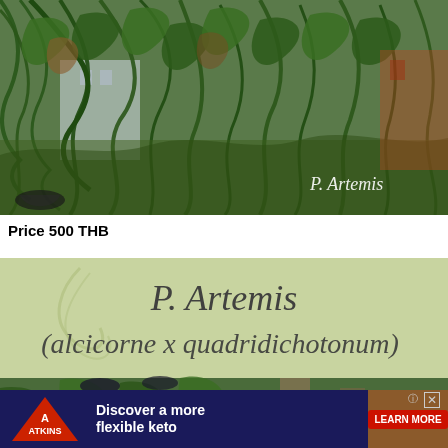[Figure (photo): Photograph of P. Artemis plant with long drooping green fronds/leaves hanging down in an outdoor nursery/garden setting. White italic text 'P. Artemis' appears in the lower-right corner of the image.]
Price 500 THB
[Figure (illustration): A light green banner/card with cursive/italic dark text reading 'P. Artemis (alcicorne x quadridichotonum)' and a partial photo of a plant below it. A small 'x' close button appears in the lower-right. Below is an advertisement banner for Atkins 'Discover a more flexible keto' with LEARN MORE button.]